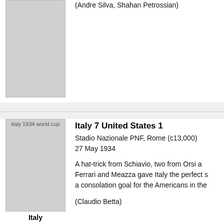[Figure (photo): Placeholder image for a football/soccer match, top section]
(Andre Silva, Shahan Petrossian)
[Figure (photo): italy 1934 world cup - Italy flag/photo placeholder]
Italy
Italy 7 United States 1
Stadio Nazionale PNF, Rome (c13,000)
27 May 1934
A hat-trick from Schiavio, two from Orsi and one each from Ferrari and Meazza gave Italy the perfect start. Donelli scored a consolation goal for the Americans in the...
(Claudio Betta)